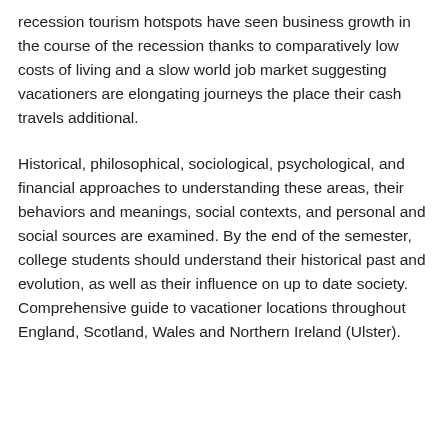recession tourism hotspots have seen business growth in the course of the recession thanks to comparatively low costs of living and a slow world job market suggesting vacationers are elongating journeys the place their cash travels additional.
Historical, philosophical, sociological, psychological, and financial approaches to understanding these areas, their behaviors and meanings, social contexts, and personal and social sources are examined. By the end of the semester, college students should understand their historical past and evolution, as well as their influence on up to date society. Comprehensive guide to vacationer locations throughout England, Scotland, Wales and Northern Ireland (Ulster).